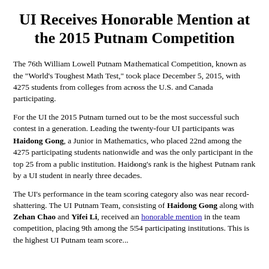UI Receives Honorable Mention at the 2015 Putnam Competition
The 76th William Lowell Putnam Mathematical Competition, known as the "World's Toughest Math Test," took place December 5, 2015, with 4275 students from colleges from across the U.S. and Canada participating.
For the UI the 2015 Putnam turned out to be the most successful such contest in a generation. Leading the twenty-four UI participants was Haidong Gong, a Junior in Mathematics, who placed 22nd among the 4275 participating students nationwide and was the only participant in the top 25 from a public institution. Haidong's rank is the highest Putnam rank by a UI student in nearly three decades.
The UI's performance in the team scoring category also was near record-shattering. The UI Putnam Team, consisting of Haidong Gong along with Zehan Chao and Yifei Li, received an honorable mention in the team competition, placing 9th among the 554 participating institutions. This is the highest UI Putnam team score...